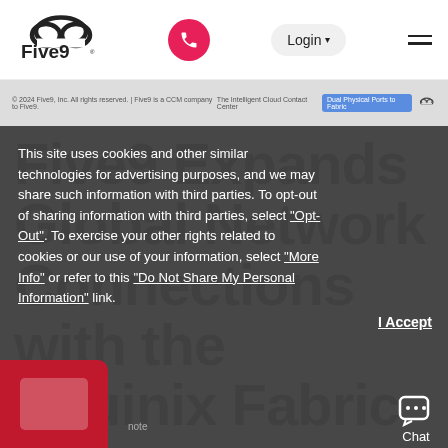[Figure (screenshot): Five9 website navigation bar with logo, pink phone button, Login dropdown, and hamburger menu]
[Figure (screenshot): Thin banner strip showing page footer text and 'Dual Physical Ports to Fabric' badge]
Five9 Expands Global Network Connections with the Equinix Fabric
This site uses cookies and other similar technologies for advertising purposes, and we may share such information with third parties. To opt-out of sharing information with third parties, select "Opt-Out". To exercise your other rights related to cookies or our use of your information, select "More Info" or refer to this "Do Not Share My Personal Information" link.
I Accept
[Figure (illustration): Red promotional badge in bottom left corner]
note
[Figure (illustration): Chat icon with Chat label in bottom right corner]